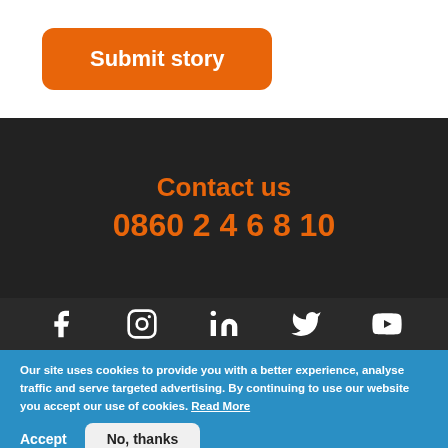Submit story
Contact us
0860 2 4 6 8 10
[Figure (other): Social media icons row: Facebook, Instagram, LinkedIn, Twitter, YouTube]
Our site uses cookies to provide you with a better experience, analyse traffic and serve targeted advertising. By continuing to use our website you accept our use of cookies. Read More
Accept
No, thanks